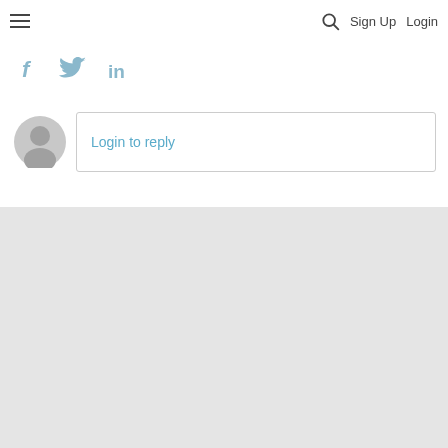☰  🔍  Sign Up  Login
[Figure (other): Social media share icons: Facebook (f), Twitter (bird), LinkedIn (in) in light blue]
[Figure (other): Gray user avatar icon (circle with person silhouette)]
Login to reply
[Figure (other): Gray background area (footer/ad placeholder)]